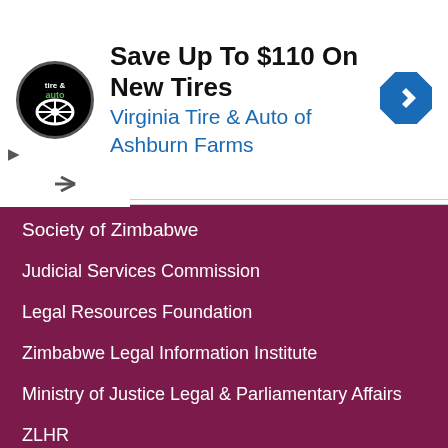[Figure (logo): Virginia Tire & Auto advertisement banner with circular logo, headline 'Save Up To $110 On New Tires', subheadline 'Virginia Tire & Auto of Ashburn Farms', and a blue diamond-shaped navigation icon.]
Society of Zimbabwe
Judicial Services Commission
Legal Resources Foundation
Zimbabwe Legal Information Institute
Ministry of Justice Legal & Parliamentary Affairs
ZLHR
Zimbabwe Environmental Law Association
Zimbabwe Women Lawyers Association
Department Of Deeds Companies & Intellectual Property
We use cookies to ensure that we give you the best experience on our website. If you continue to use this site we will assume that you are happy with it.